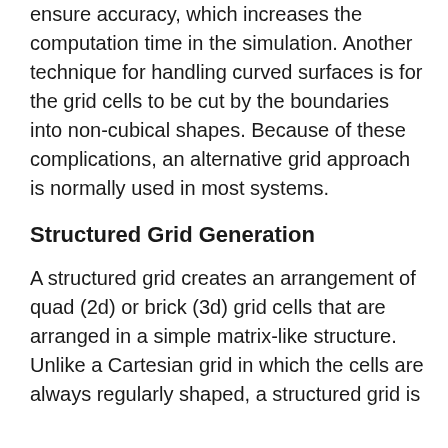ensure accuracy, which increases the computation time in the simulation. Another technique for handling curved surfaces is for the grid cells to be cut by the boundaries into non-cubical shapes. Because of these complications, an alternative grid approach is normally used in most systems.
Structured Grid Generation
A structured grid creates an arrangement of quad (2d) or brick (3d) grid cells that are arranged in a simple matrix-like structure. Unlike a Cartesian grid in which the cells are always regularly shaped, a structured grid is